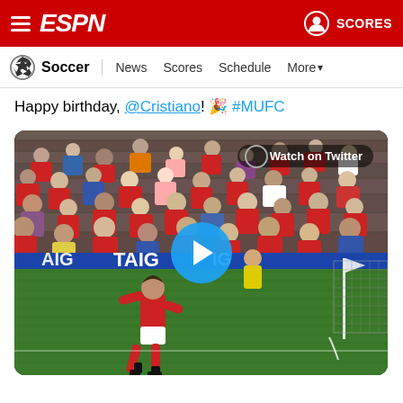ESPN — Soccer | News  Scores  Schedule  More
Happy birthday, @Cristiano! 🎉 #MUFC
[Figure (screenshot): Video thumbnail of Cristiano Ronaldo taking a corner kick at Old Trafford in a Manchester United match. Crowd visible in background. 'Watch on Twitter' badge in top right corner. Play button (blue circle with white triangle) in center.]